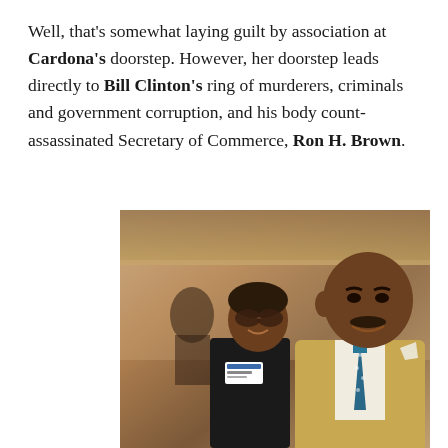Well, that's somewhat laying guilt by association at Cardona's doorstep. However, her doorstep leads directly to Bill Clinton's ring of murderers, criminals and government corruption, and his body count- assassinated Secretary of Commerce, Ron H. Brown.
[Figure (photo): A sepia/vintage-toned photograph of two people posing together: a woman on the left wearing sunglasses, a black sleeveless top, and a name badge, and a larger man on the right wearing a tan/beige suit jacket with a teal/blue tie and white pocket square. They are smiling at the camera. There is another person partially visible in the background on the left.]